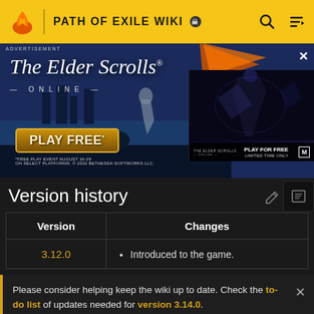PATH OF EXILE WIKI
[Figure (screenshot): The Elder Scrolls Online advertisement banner with 'PLAY FREE' button and mini panel showing 'PLAY FOR FREE LIMITED TIME ONLY']
Version history
| Version | Changes |
| --- | --- |
| 3.12.0 | Introduced to the game. |
Please consider helping keep the wiki up to date. Check the to-do list of updates needed for version 3.14.0. Game data exports will becoming later as the technical changes in addition to regular changes take some more time.